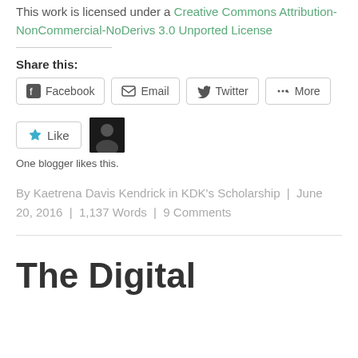This work is licensed under a Creative Commons Attribution-NonCommercial-NoDerivs 3.0 Unported License
Share this:
Facebook | Email | Twitter | More
Like — One blogger likes this.
By Kaetrena Davis Kendrick in KDK's Scholarship | June 20, 2016 | 1,137 Words | 9 Comments
The Digital